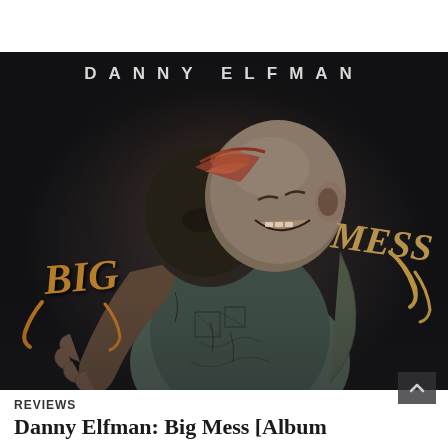[Figure (illustration): Album cover for Danny Elfman 'Big Mess' showing a disturbing 3D rendered sculpture of two grotesque figures embracing, with distorted flesh-like textures and tattoos. The text 'BIG' appears on the left in organic lettering and 'MESS' on the right. Dark background with the artist name 'DANNY ELFMAN' in large spaced letters at the top.]
REVIEWS
Danny Elfman: Big Mess [Album